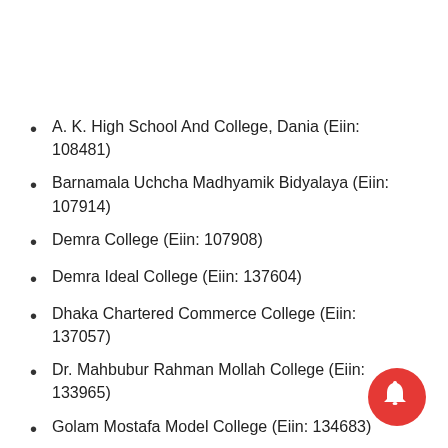A. K. High School And College, Dania (Eiin: 108481)
Barnamala Uchcha Madhyamik Bidyalaya (Eiin: 107914)
Demra College (Eiin: 107908)
Demra Ideal College (Eiin: 137604)
Dhaka Chartered Commerce College (Eiin: 137057)
Dr. Mahbubur Rahman Mollah College (Eiin: 133965)
Golam Mostafa Model College (Eiin: 134683)
Ideal Laboratory College (Eiin: 131457)